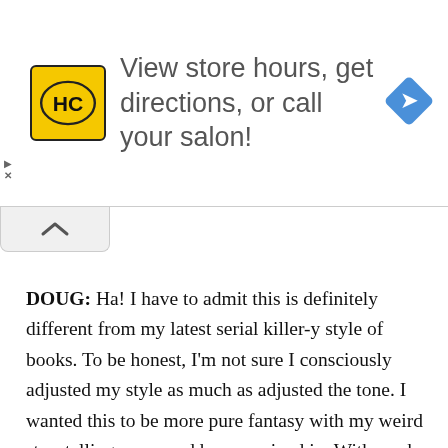[Figure (infographic): Advertisement banner with HC (Hair Club) yellow logo on left, text 'View store hours, get directions, or call your salon!' in center, and blue navigation diamond icon on right. Small play and X controls on far left edge.]
DOUG: Ha! I have to admit this is definitely different from my latest serial killer-y style of books. To be honest, I'm not sure I consciously adjusted my style as much as adjusted the tone. I wanted this to be more pure fantasy with my weird storytelling sense and humor mixed in. With works like Plastic and Vinyl, I purposefully push the edge and try my best to keep the reader off-balance emotionally. To me, that's what makes an enjoyable horror/dark comedy. With Beware the Eye of Odin, it was more about taking the classic